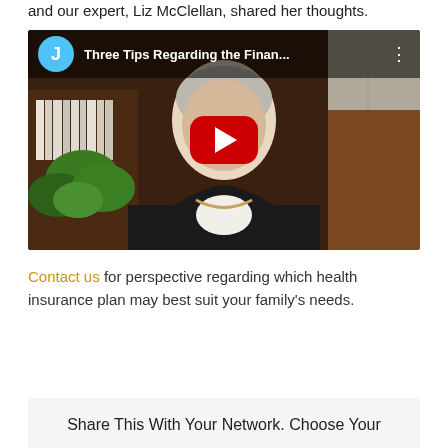and our expert, Liz McClellan, shared her thoughts.
[Figure (screenshot): YouTube video thumbnail showing a woman in a black blazer sitting in an office with bookshelves and a plant. The video title reads 'Three Tips Regarding the Finan...' with a YouTube play button overlay. A blue circle avatar with letter J appears in the top-left corner.]
Contact us for perspective regarding which health insurance plan may best suit your family's needs.
Share This With Your Network. Choose Your